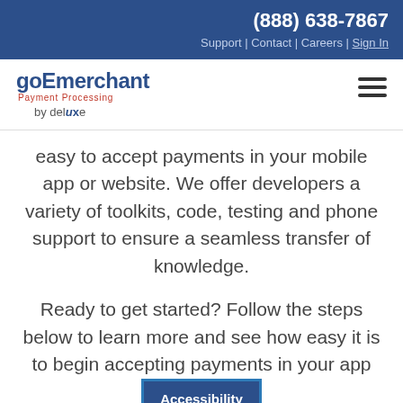(888) 638-7867
Support | Contact | Careers | Sign In
[Figure (logo): goEmerchant Payment Processing by deluxe logo with hamburger menu icon]
easy to accept payments in your mobile app or website. We offer developers a variety of toolkits, code, testing and phone support to ensure a seamless transfer of knowledge.
Ready to get started? Follow the steps below to learn more and see how easy it is to begin accepting payments in your app